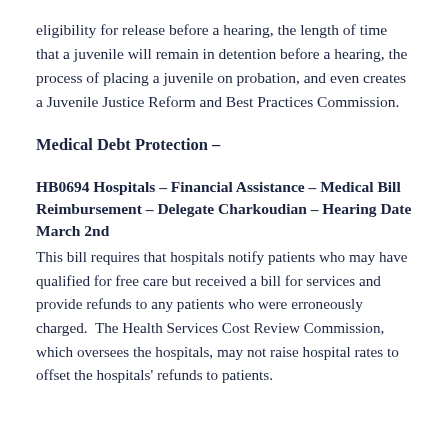eligibility for release before a hearing, the length of time that a juvenile will remain in detention before a hearing, the process of placing a juvenile on probation, and even creates a Juvenile Justice Reform and Best Practices Commission.
Medical Debt Protection –
HB0694 Hospitals – Financial Assistance – Medical Bill Reimbursement – Delegate Charkoudian – Hearing Date March 2nd
This bill requires that hospitals notify patients who may have qualified for free care but received a bill for services and provide refunds to any patients who were erroneously charged.  The Health Services Cost Review Commission, which oversees the hospitals, may not raise hospital rates to offset the hospitals' refunds to patients.